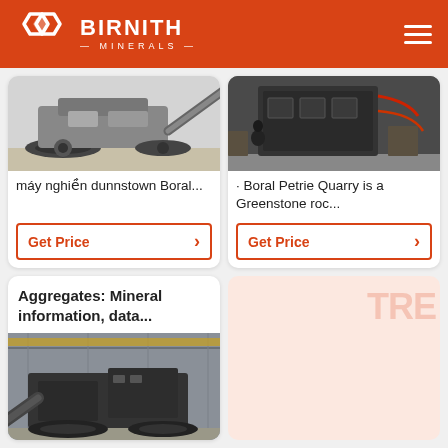[Figure (logo): Birnith Minerals logo with white hexagon icon and white text on orange/red background header bar]
[Figure (photo): Mobile crushing/mining machine on tracks, photographed outdoors]
máy nghiền dunnstown Boral...
Get Price
[Figure (photo): Large industrial crusher/impact machine in warehouse, dark machinery with red cables, person standing nearby]
· Boral Petrie Quarry is a Greenstone roc...
Get Price
Aggregates: Mineral information, data...
[Figure (photo): Large industrial mining machine/crawler inside a warehouse facility]